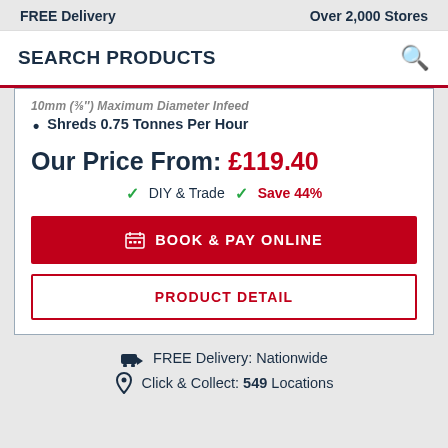FREE Delivery    Over 2,000 Stores
SEARCH PRODUCTS
Shreds 0.75 Tonnes Per Hour
Our Price From: £119.40
DIY & Trade  Save 44%
BOOK & PAY ONLINE
PRODUCT DETAIL
FREE Delivery: Nationwide   Click & Collect: 549 Locations